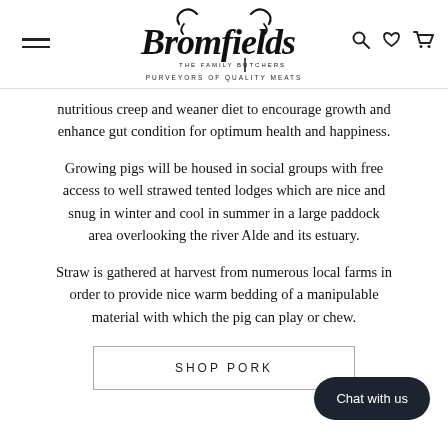Bromfields The Family Butchers — Purveyors of Quality Meats
nutritious creep and weaner diet to encourage growth and enhance gut condition for optimum health and happiness.
Growing pigs will be housed in social groups with free access to well strawed tented lodges which are nice and snug in winter and cool in summer in a large paddock area overlooking the river Alde and its estuary.
Straw is gathered at harvest from numerous local farms in order to provide nice warm bedding of a manipulable material with which the pig can play or chew.
SHOP PORK
Chat with us